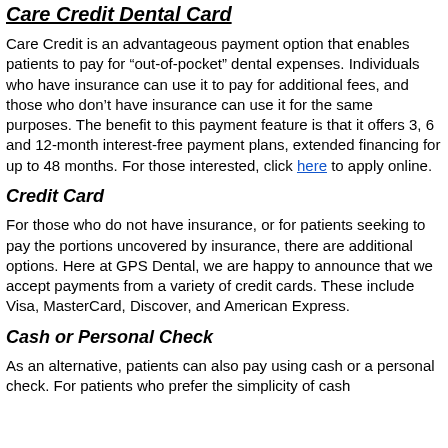Care Credit Dental Card
Care Credit is an advantageous payment option that enables patients to pay for “out-of-pocket” dental expenses. Individuals who have insurance can use it to pay for additional fees, and those who don’t have insurance can use it for the same purposes. The benefit to this payment feature is that it offers 3, 6 and 12-month interest-free payment plans, extended financing for up to 48 months. For those interested, click here to apply online.
Credit Card
For those who do not have insurance, or for patients seeking to pay the portions uncovered by insurance, there are additional options. Here at GPS Dental, we are happy to announce that we accept payments from a variety of credit cards. These include Visa, MasterCard, Discover, and American Express.
Cash or Personal Check
As an alternative, patients can also pay using cash or a personal check. For patients who prefer the simplicity of cash...